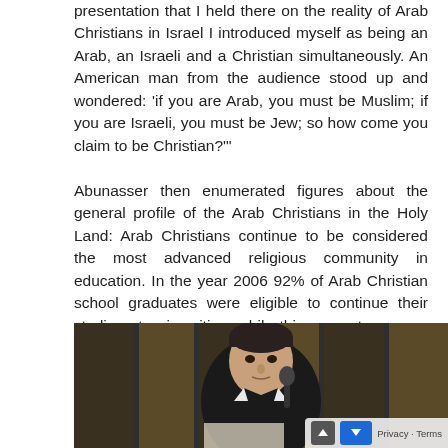presentation that I held there on the reality of Arab Christians in Israel I introduced myself as being an Arab, an Israeli and a Christian simultaneously. An American man from the audience stood up and wondered: 'if you are Arab, you must be Muslim; if you are Israeli, you must be Jew; so how come you claim to be Christian?'
Abunasser then enumerated figures about the general profile of the Arab Christians in the Holy Land: Arab Christians continue to be considered the most advanced religious community in education. In the year 2006 92% of Arab Christian school graduates were eligible to continue their studies at universities, while this percentage goes down to 88% amongst Jews, 72% among Muslims and 70% among Druze."
[Figure (photo): A man in a dark suit speaking at a podium with a microphone, photographed in a conference or lecture hall setting. Dark wooden panels in the background.]